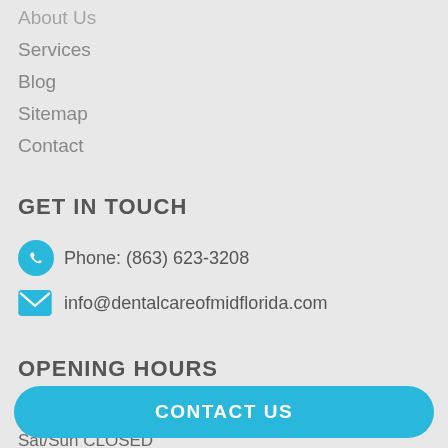About Us
Services
Blog
Sitemap
Contact
GET IN TOUCH
Phone: (863) 623-3208
info@dentalcareofmidflorida.com
OPENING HOURS
Mon - Fri 8:00am - 5:00pm, Sat/Sun CLOSED
CONTACT US